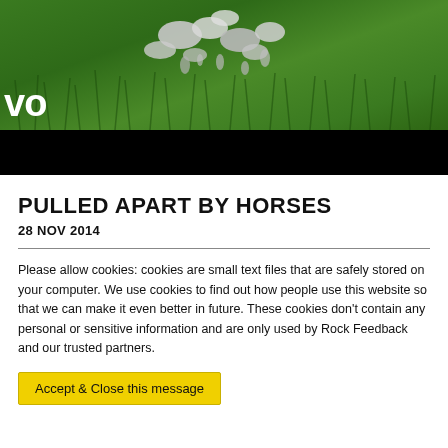[Figure (photo): Music video thumbnail showing silver liquid/metallic blobs against green grass background with VEVO logo watermark and black bar at bottom]
PULLED APART BY HORSES
28 NOV 2014
Please allow cookies: cookies are small text files that are safely stored on your computer. We use cookies to find out how people use this website so that we can make it even better in future. These cookies don't contain any personal or sensitive information and are only used by Rock Feedback and our trusted partners.
Accept & Close this message